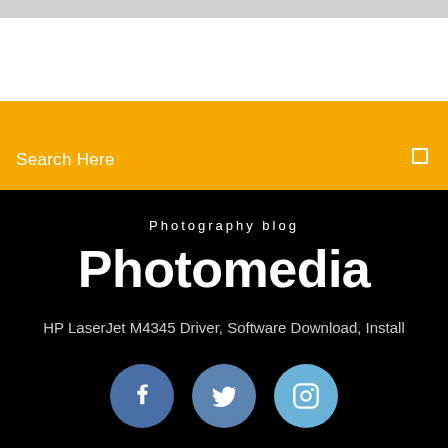[Figure (screenshot): Top gray bar and white area above orange search bar]
Search Here
Photography blog
Photomedia
HP LaserJet M4345 Driver, Software Download, Install
[Figure (illustration): Social media icons: Facebook, Twitter, Instagram]